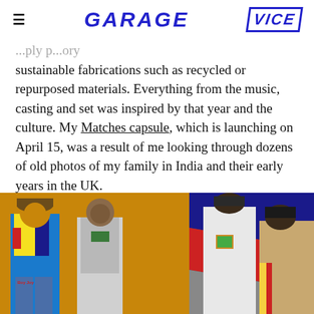GARAGE | VICE
sustainable fabrications such as recycled or repurposed materials. Everything from the music, casting and set was inspired by that year and the culture. My Matches capsule, which is launching on April 15, was a result of me looking through dozens of old photos of my family in India and their early years in the UK.
[Figure (photo): Fashion editorial photo showing male models wearing colorful streetwear and casual outfits in front of a geometric background with orange, blue, red, and grey sections.]